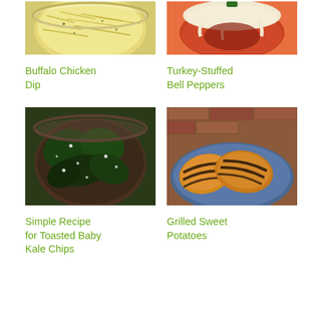[Figure (photo): Buffalo Chicken Dip in a white bowl with shredded cheese on top]
[Figure (photo): Turkey-Stuffed Bell Peppers with melted cheese on top in a red pepper]
Buffalo Chicken Dip
Turkey-Stuffed Bell Peppers
[Figure (photo): Simple Recipe for Toasted Baby Kale Chips in a bowl with white seasoning]
[Figure (photo): Grilled Sweet Potatoes sliced showing grill marks on a blue plate]
Simple Recipe for Toasted Baby Kale Chips
Grilled Sweet Potatoes